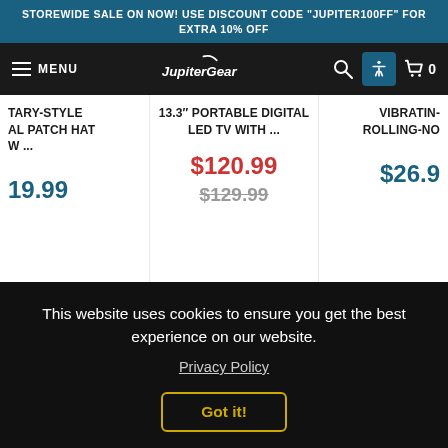STOREWIDE SALE ON NOW! USE DISCOUNT CODE 'JUPITER100OFF' FOR EXTRA 10% OFF
[Figure (logo): JupiterGear logo with navigation bar including menu, search, accessibility, and cart icons]
TARY-STYLE AL PATCH HAT W ...
$19.99
13.3" PORTABLE DIGITAL LED TV WITH ...
$120.99
$129.99
VIBRATIN- ROLLING-NO
$26.9
This website uses cookies to ensure you get the best experience on our website.
Privacy Policy
Got it!